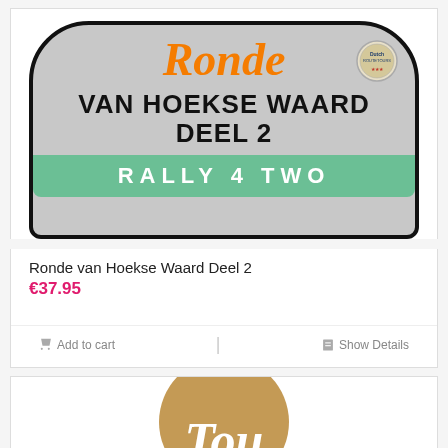[Figure (illustration): Rally sign / badge graphic for 'Ronde van Hoekse Waard Deel 2 - Rally 4 Two'. Gray shield-shaped sign with rounded arch top, black border, orange italic 'Ronde' text, black bold 'VAN HOEKSE WAARD DEEL 2' text, green bottom bar with white 'RALLY 4 TWO' text, and a circular Dutch badge logo top right.]
Ronde van Hoekse Waard Deel 2
€37.95
Add to cart
Show Details
[Figure (logo): Partial circular brown/tan logo with white italic script text beginning with 'T' visible at bottom of page.]